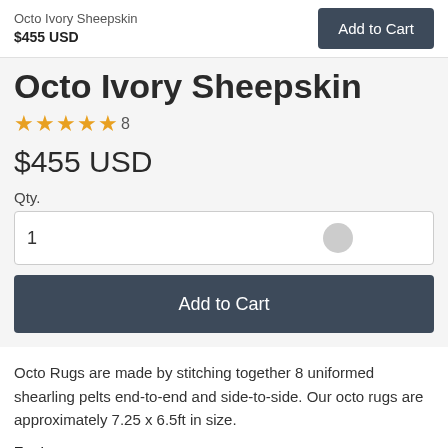Octo Ivory Sheepskin
$455 USD
Octo Ivory Sheepskin
★★★★★ 8
$455 USD
Qty.
1
Add to Cart
Octo Rugs are made by stitching together 8 uniformed shearling pelts end-to-end and side-to-side. Our octo rugs are approximately 7.25 x 6.5ft in size.
Features: